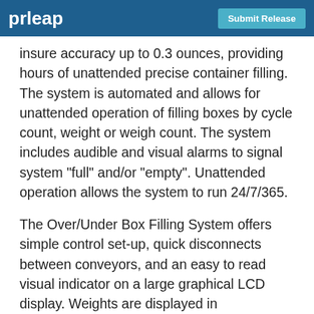prleap  Submit Release
insure accuracy up to 0.3 ounces, providing hours of unattended precise container filling. The system is automated and allows for unattended operation of filling boxes by cycle count, weight or weigh count. The system includes audible and visual alarms to signal system "full" and/or "empty". Unattended operation allows the system to run 24/7/365.
The Over/Under Box Filling System offers simple control set-up, quick disconnects between conveyors, and an easy to read visual indicator on a large graphical LCD display. Weights are displayed in kilograms/grams or pounds/ounces and the database allows for storage of multiple jobs. The systems offer repeatability to within .02 of 1 lb. or 9 grams. The